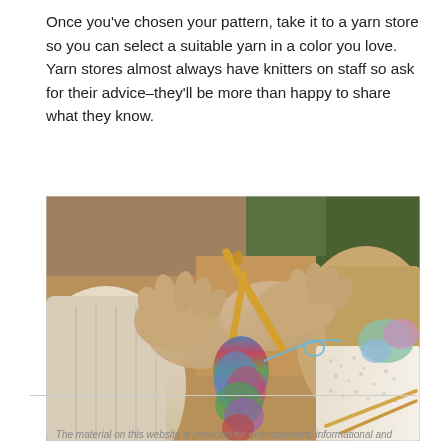Once you've chosen your pattern, take it to a yarn store so you can select a suitable yarn in a color you love. Yarn stores almost always have knitters on staff so ask for their advice–they'll be more than happy to share what they know.
[Figure (photo): Close-up photo of elderly person's hands knitting with colorful multicolored yarn using wooden needles, wearing a beige/cream cable-knit sweater. Additional knitting supplies visible in the right background.]
The material on this website is provided for entertainment, informational and